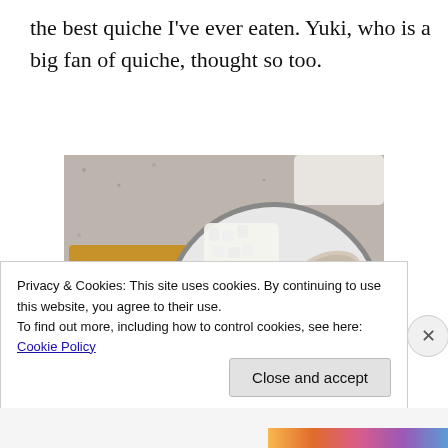the best quiche I've ever eaten. Yuki, who is a big fan of quiche, thought so too.
[Figure (photo): Top-down view of a wooden cutting board with minced garlic on the left, and a round white plate containing chopped white onion, sliced mushrooms, and broccoli florets on a granite countertop.]
Privacy & Cookies: This site uses cookies. By continuing to use this website, you agree to their use.
To find out more, including how to control cookies, see here: Cookie Policy
Close and accept